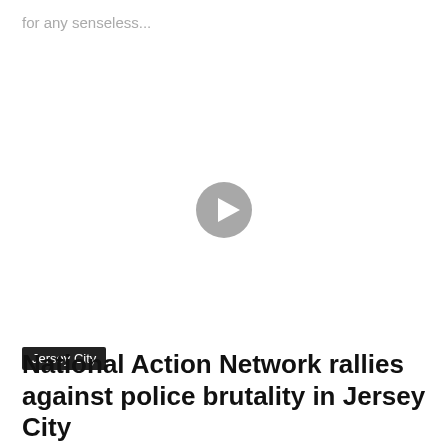for any senseless...
[Figure (screenshot): Video player area with a circular play button icon centered on a white/light background]
Jersey City
National Action Network rallies against police brutality in Jersey City